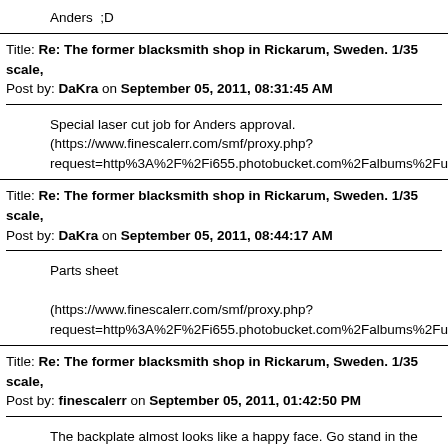Anders  ;D
Title: Re: The former blacksmith shop in Rickarum, Sweden. 1/35 scale,
Post by: DaKra on September 05, 2011, 08:31:45 AM
Special laser cut job for Anders approval.
(https://www.finescalerr.com/smf/proxy.php?request=http%3A%2F%2Fi655.photobucket.com%2Falbums%2Fuu276
Title: Re: The former blacksmith shop in Rickarum, Sweden. 1/35 scale,
Post by: DaKra on September 05, 2011, 08:44:17 AM
Parts sheet

(https://www.finescalerr.com/smf/proxy.php?request=http%3A%2F%2Fi655.photobucket.com%2Falbums%2Fuu276
Title: Re: The former blacksmith shop in Rickarum, Sweden. 1/35 scale,
Post by: finescalerr on September 05, 2011, 01:42:50 PM
The backplate almost looks like a happy face. Go stand in the corner. -
- Russ